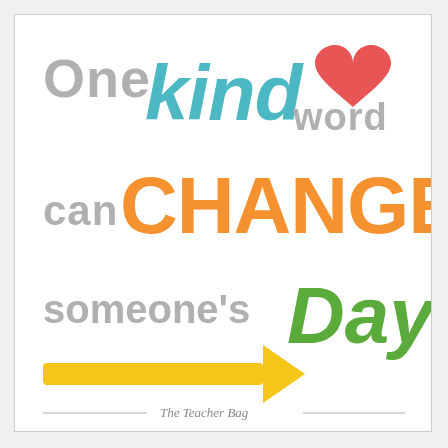[Figure (illustration): Motivational quote illustration: 'One Kind word can CHANGE someone's Day' with a red heart, yellow arrow, and colorful mixed typography on white background. Attribution: The Teacher Bag.]